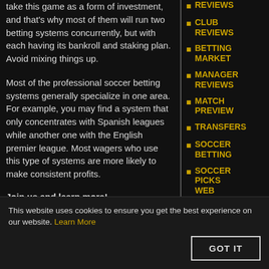take this game as a form of investment, and that's why most of them will run two betting systems concurrently, but with each having its bankroll and staking plan. Avoid mixing things up.
Most of the professional soccer betting systems generally specialize in one area. For example, you may find a system that only concentrates with Spanish leagues while another one with the English premier league. Most wagers who use this type of systems are more likely to make consistent profits.
Join us and learn more!
The most common mistake that a lot of
REVIEWS
CLUB REVIEWS
BETTING MARKET
MANAGER REVIEWS
MATCH PREVIEW
TRANSFERS
SOCCER BETTING
SOCCER PICKS WEB SERIES
BETTING SYSTEM
BETTING
This website uses cookies to ensure you get the best experience on our website. Learn More
GOT IT